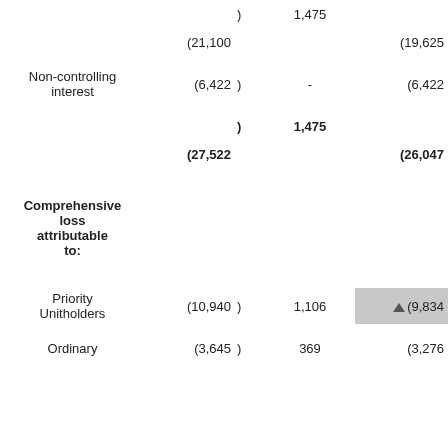|  | Col A |  | Col C | Col D |
| --- | --- | --- | --- | --- |
|  |  | ) | 1,475 |  |
|  | (21,100 |  |  | (19,625 |
| Non-controlling interest | (6,422 | ) | - | (6,422 |
|  |  | ) | 1,475 |  |
|  | (27,522 |  |  | (26,047 |
| Comprehensive loss attributable to: |  |  |  |  |
| Priority Unitholders | (10,940 | ) | 1,106 | (9,834 |
| Ordinary | (3,645 | ) | 369 | (3,276 |